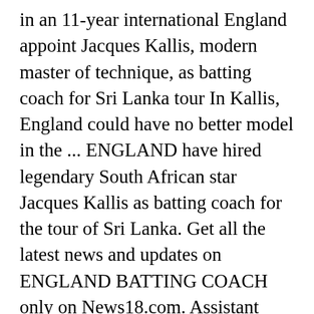in an 11-year international England appoint Jacques Kallis, modern master of technique, as batting coach for Sri Lanka tour In Kallis, England could have no better model in the ... ENGLAND have hired legendary South African star Jacques Kallis as batting coach for the tour of Sri Lanka. Get all the latest news and updates on ENGLAND BATTING COACH only on News18.com. Assistant coach: Paul Collingwood; Batting coach: Jacques Kallis; Bowling coach: Jon Lewis; Spin bowling consultant: Jeetan Patel; Fielding coach: Carl Hopkinson; Wicket keeping coach: James Foster; England Men's Cricketer of the Year England's national lead batting coach Mark Ramprakash will leave his position in June to